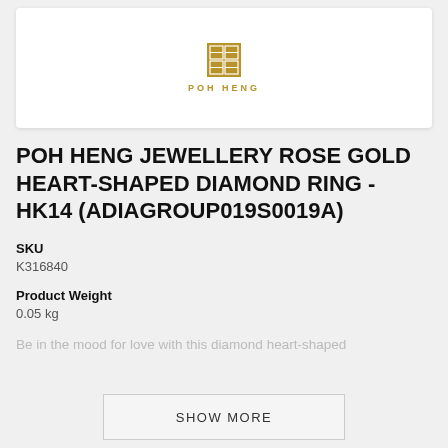[Figure (logo): Poh Heng logo: a small square Chinese character icon in gold/brown above the text POH HENG in gold spaced capitals]
POH HENG JEWELLERY ROSE GOLD HEART-SHAPED DIAMOND RING - HK14 (ADIAGROUP019S0019A)
SKU
K316840
Product Weight
0.05 kg
Be in the mood for love with this diamond heart-shaped
SHOW MORE